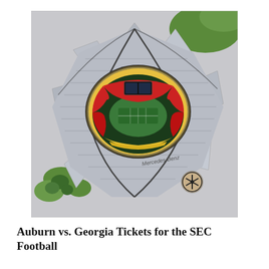[Figure (photo): Aerial view of Mercedes-Benz Stadium in Atlanta, Georgia, showing the distinctive rotating petal roof structure from above. The stadium interior is visible with red and yellow seating. The Mercedes-Benz star logo is visible on the exterior.]
Auburn vs. Georgia Tickets for the SEC Football